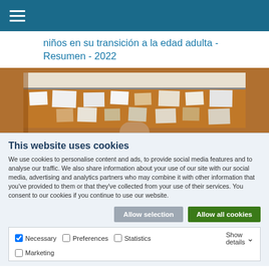Menu icon / navigation header
niños en su transición a la edad adulta - Resumen - 2022
[Figure (photo): Photo of a corkboard with papers and photos pinned to it, partially visible]
This website uses cookies
We use cookies to personalise content and ads, to provide social media features and to analyse our traffic. We also share information about your use of our site with our social media, advertising and analytics partners who may combine it with other information that you've provided to them or that they've collected from your use of their services. You consent to our cookies if you continue to use our website.
Allow selection | Allow all cookies | Necessary | Preferences | Statistics | Marketing | Show details